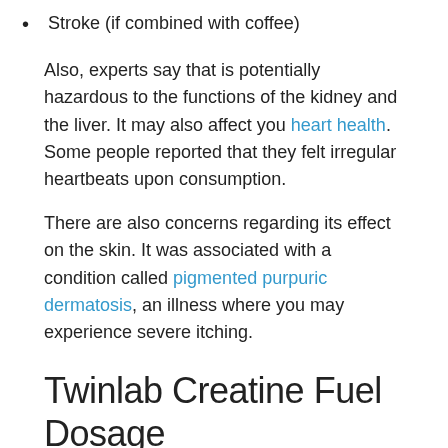Stroke (if combined with coffee)
Also, experts say that is potentially hazardous to the functions of the kidney and the liver. It may also affect you heart health. Some people reported that they felt irregular heartbeats upon consumption.
There are also concerns regarding its effect on the skin. It was associated with a condition called pigmented purpuric dermatosis, an illness where you may experience severe itching.
Twinlab Creatine Fuel Dosage
The manufacturer recommends adding 1 teaspoon of this powder to 8 fl. oz. of cold liquid. You may mix it with either water or your favorite beverage.